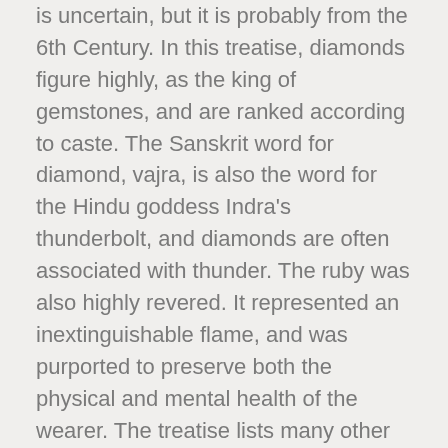is uncertain, but it is probably from the 6th Century. In this treatise, diamonds figure highly, as the king of gemstones, and are ranked according to caste. The Sanskrit word for diamond, vajra, is also the word for the Hindu goddess Indra's thunderbolt, and diamonds are often associated with thunder. The ruby was also highly revered. It represented an inextinguishable flame, and was purported to preserve both the physical and mental health of the wearer. The treatise lists many other gemstones and their properties.
In Burma, stones, especially rubies, were inserted into the flesh to become part of the wearer's body, in the belief it would make them invulnerable.
Amulets were banned by the Christian church in 355 AD, but gemstones continued to play an important role, with sapphire being the favoured gem for ecclesiastical rings in the 12th century. Marbodus, the Bishop of